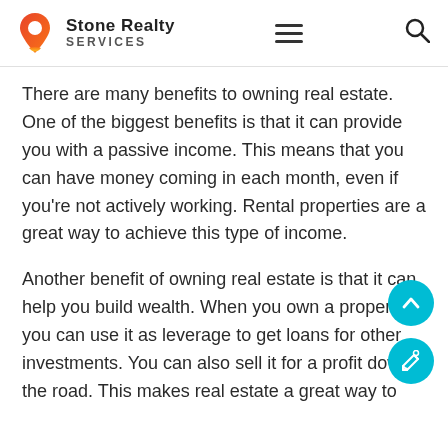Stone Realty Services
There are many benefits to owning real estate. One of the biggest benefits is that it can provide you with a passive income. This means that you can have money coming in each month, even if you're not actively working. Rental properties are a great way to achieve this type of income.
Another benefit of owning real estate is that it can help you build wealth. When you own a property, you can use it as leverage to get loans for other investments. You can also sell it for a profit down the road. This makes real estate a great way to